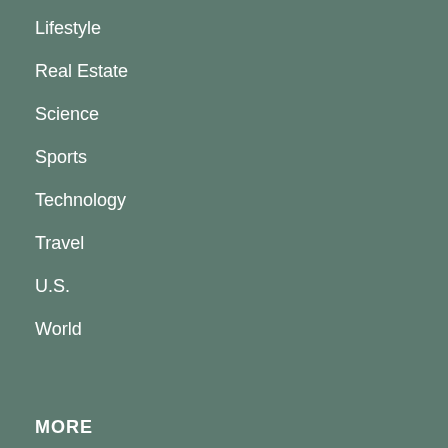Lifestyle
Real Estate
Science
Sports
Technology
Travel
U.S.
World
MORE